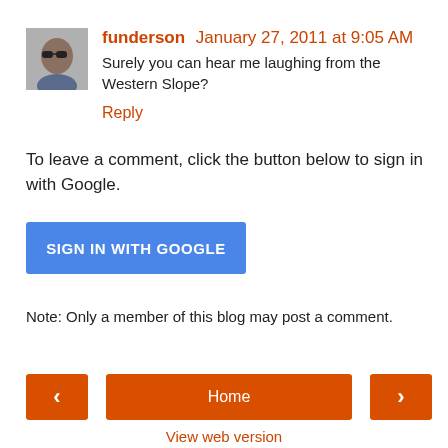[Figure (photo): Profile photo of user 'funderson', a square avatar thumbnail showing a person wearing sunglasses]
funderson January 27, 2011 at 9:05 AM
Surely you can hear me laughing from the Western Slope?
Reply
To leave a comment, click the button below to sign in with Google.
[Figure (screenshot): Blue button labeled SIGN IN WITH GOOGLE]
Note: Only a member of this blog may post a comment.
Home
View web version
Powered by Blogger.